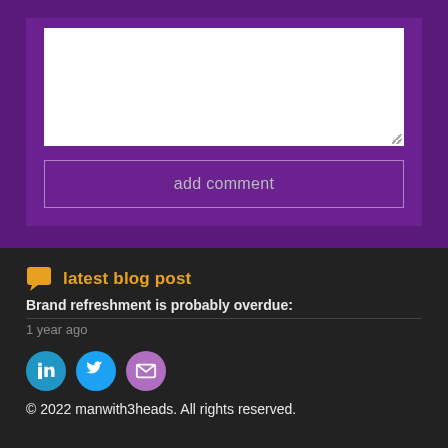[Figure (screenshot): Purple comment form section with a white textarea and an 'add comment' button with white border on purple background]
latest blog post
Brand refreshment is probably overdue:
1 year ago
[Figure (illustration): Social media icons: LinkedIn (blue circle), Twitter (blue circle), Email (purple circle)]
© 2022 manwith3heads. All rights reserved.